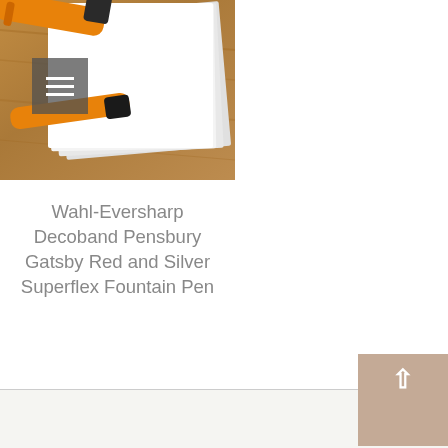[Figure (photo): Product photo of Wahl-Eversharp Decoband Pensbury Gatsby Red and Silver Superflex Fountain Pen on a wooden surface with white paper]
Wahl-Eversharp Decoband Pensbury Gatsby Red and Silver Superflex Fountain Pen
$895.00